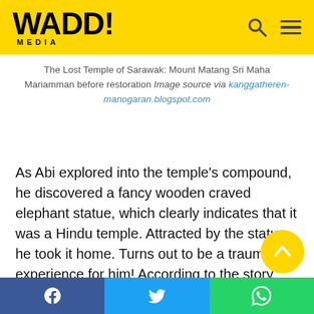WADD! MEDIA
The Lost Temple of Sarawak: Mount Matang Sri Maha Mariamman before restoration Image source via kanggatheren-manogaran.blogspot.com
As Abi explored into the temple's compound, he discovered a fancy wooden craved elephant statue, which clearly indicates that it was a Hindu temple. Attracted by the statue, he took it home. Turns out to be a traumatic experience for him! According to the story reported by the Borneo Post, Abi's house shook violently that night (they believed that the thunderstorm is targeting house) and had dreamt that he must return the statue to the temple.
Facebook | Twitter | WhatsApp